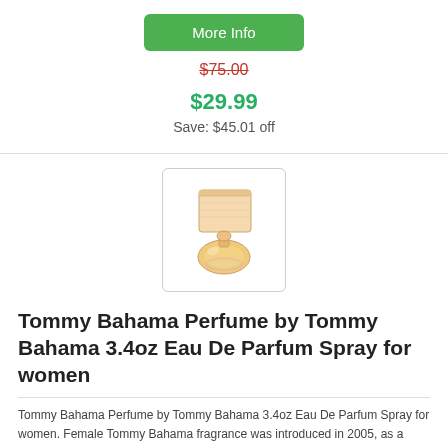More Info
$75.00
$29.99
Save: $45.01 off
[Figure (photo): Tommy Bahama perfume product photo showing a round golden/peach glass perfume bottle with a matching box]
Tommy Bahama Perfume by Tommy Bahama 3.4oz Eau De Parfum Spray for women
Tommy Bahama Perfume by Tommy Bahama 3.4oz Eau De Parfum Spray for women. Female Tommy Bahama fragrance was introduced in 2005, as a